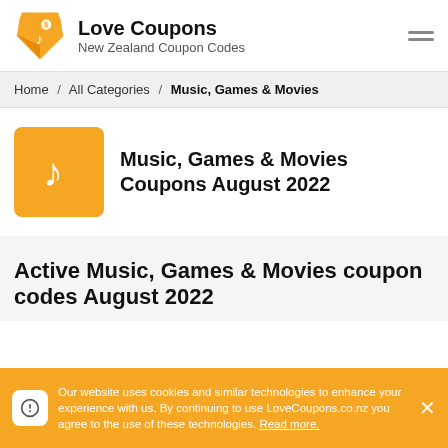Love Coupons — New Zealand Coupon Codes
Home / All Categories / Music, Games & Movies
Music, Games & Movies Coupons August 2022
Active Music, Games & Movies coupon codes August 2022
Our website uses cookies and similar technologies to enhance your experience with us. By continuing to use LoveCoupons.co.nz you agree to the use of these technologies. Read more.